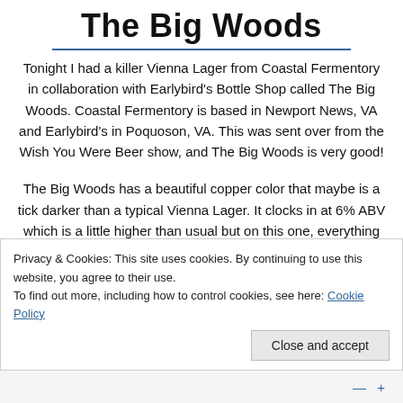The Big Woods
Tonight I had a killer Vienna Lager from Coastal Fermentory in collaboration with Earlybird's Bottle Shop called The Big Woods. Coastal Fermentory is based in Newport News, VA and Earlybird's in Poquoson, VA. This was sent over from the Wish You Were Beer show, and The Big Woods is very good!
The Big Woods has a beautiful copper color that maybe is a tick darker than a typical Vienna Lager. It clocks in at 6% ABV which is a little higher than usual but on this one, everything works! The aroma is terrific and the taste is
Privacy & Cookies: This site uses cookies. By continuing to use this website, you agree to their use.
To find out more, including how to control cookies, see here: Cookie Policy
Close and accept